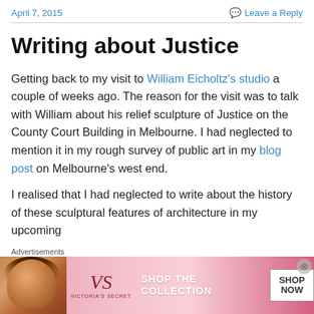April 7, 2015   Leave a Reply
Writing about Justice
Getting back to my visit to William Eicholtz's studio a couple of weeks ago. The reason for the visit was to talk with William about his relief sculpture of Justice on the County Court Building in Melbourne. I had neglected to mention it in my rough survey of public art in my blog post on Melbourne's west end.
I realised that I had neglected to write about the history of these sculptural features of architecture in my upcoming
Advertisements
[Figure (photo): Victoria's Secret advertisement banner with a model and 'SHOP THE COLLECTION' text and a 'SHOP NOW' button]